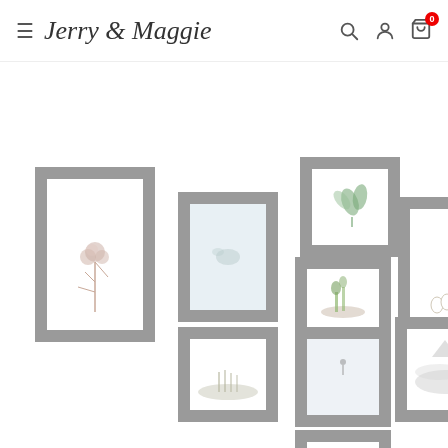Jerry & Maggie — navigation header with menu, search, account, and cart icons
[Figure (photo): Gallery wall display showing 10 framed nature photos (flowers, leaves, birds, mountains, plants) arranged in a decorative wall collage pattern with gray frames on white background]